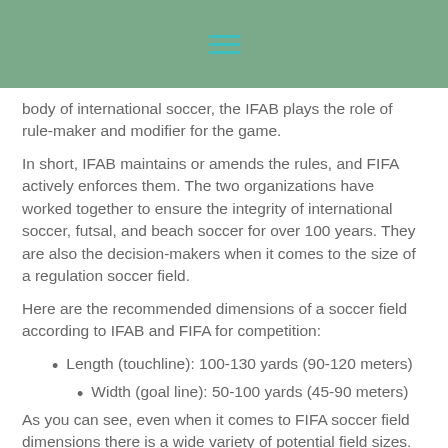body of international soccer, the IFAB plays the role of rule-maker and modifier for the game.
In short, IFAB maintains or amends the rules, and FIFA actively enforces them. The two organizations have worked together to ensure the integrity of international soccer, futsal, and beach soccer for over 100 years. They are also the decision-makers when it comes to the size of a regulation soccer field.
Here are the recommended dimensions of a soccer field according to IFAB and FIFA for competition:
Length (touchline): 100-130 yards (90-120 meters)
Width (goal line): 50-100 yards (45-90 meters)
As you can see, even when it comes to FIFA soccer field dimensions there is a wide variety of potential field sizes. Even more important is that IFAB and FIFA have more